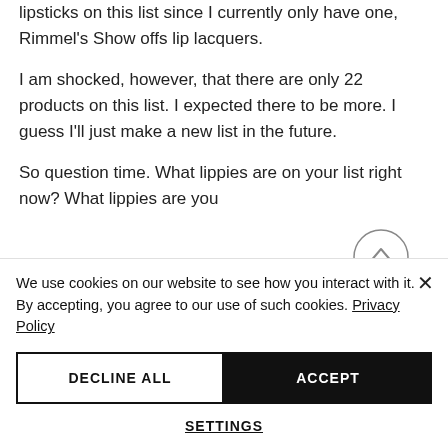lipsticks on this list since I currently only have one, Rimmel's Show offs lip lacquers.
I am shocked, however, that there are only 22 products on this list. I expected there to be more. I guess I'll just make a new list in the future.
So question time. What lippies are on your list right now? What lippies are you
We use cookies on our website to see how you interact with it. By accepting, you agree to our use of such cookies. Privacy Policy
DECLINE ALL
ACCEPT
SETTINGS